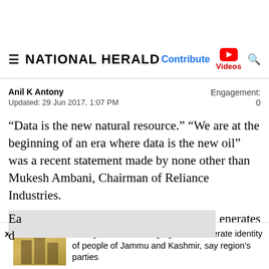NATIONAL HERALD
Anil K Antony
Updated: 29 Jun 2017, 1:07 PM
Engagement: 0
“Data is the new natural resource.” “We are at the beginning of an era where data is the new oil” was a recent statement made by none other than Mukesh Ambani, Chairman of Reliance Industries.
Ea[...] generates d[...] il...
Giving outsiders voting right will obliterate identity of people of Jammu and Kashmir, say region’s parties